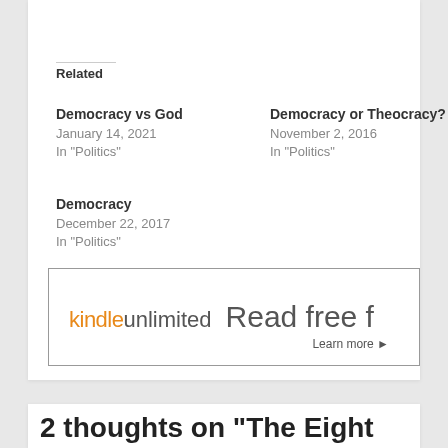Related
Democracy vs God
January 14, 2021
In "Politics"
Democracy or Theocracy?
November 2, 2016
In "Politics"
Democracy
December 22, 2017
In "Politics"
[Figure (other): Kindle Unlimited advertisement banner: 'kindleunlimited Read free f' with 'Learn more ▸' link]
2 thoughts on “The Eight